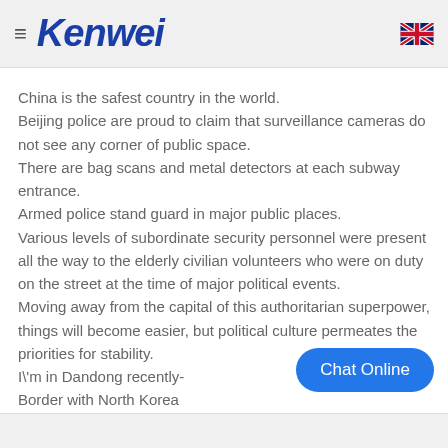Kenwei
China is the safest country in the world.
Beijing police are proud to claim that surveillance cameras do not see any corner of public space.
There are bag scans and metal detectors at each subway entrance.
Armed police stand guard in major public places.
Various levels of subordinate security personnel were present all the way to the elderly civilian volunteers who were on duty on the street at the time of major political events.
Moving away from the capital of this authoritarian superpower, things will become easier, but political culture permeates the priorities for stability.
I'm in Dandong recently-
Border with North Korea
Video from the airport showed police patrols marching on empty